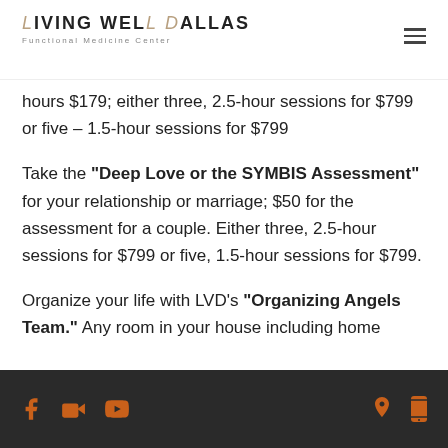LIVING WELL DALLAS Functional Medicine Center
hours $179; either three, 2.5-hour sessions for $799 or five – 1.5-hour sessions for $799
Take the "Deep Love or the SYMBIS Assessment" for your relationship or marriage; $50 for the assessment for a couple. Either three, 2.5-hour sessions for $799 or five, 1.5-hour sessions for $799.
Organize your life with LVD's "Organizing Angels Team." Any room in your house including home
Social media icons and contact icons